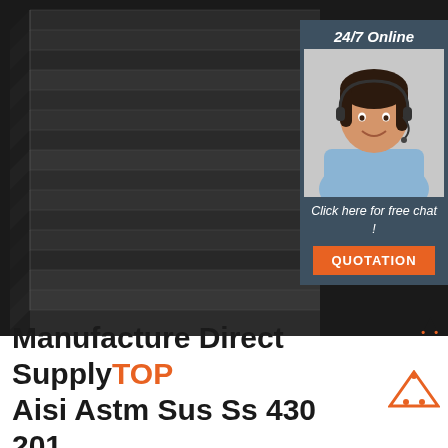[Figure (photo): Stacked steel angle iron bars arranged diagonally, dark grey/black metallic finish, filling the upper portion of the image. An overlay box in the top-right shows a customer service representative wearing a headset with text '24/7 Online', 'Click here for free chat!', and an orange 'QUOTATION' button.]
Manufacture Direct Supply TOP Aisi Astm Sus Ss 430 201